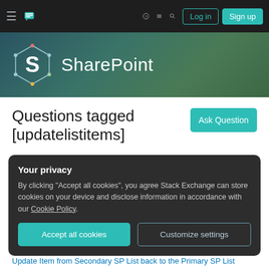Stack Exchange navigation bar with hamburger menu, logo, help, chat, search icons, Log in and Sign up buttons
[Figure (logo): SharePoint Stack Exchange logo with geometric S icon and SharePoint text on teal/green gradient banner]
Questions tagged [updatelistitems]
A method of the Lists class that adds, deletes, or updates the specified items in a list on the current site.
Learn more…
Top users
Synonyms
Your privacy
By clicking "Accept all cookies", you agree Stack Exchange can store cookies on your device and disclose information in accordance with our Cookie Policy.
Accept all cookies | Customize settings
Update Item from Secondary SP List back to the Primary SP List